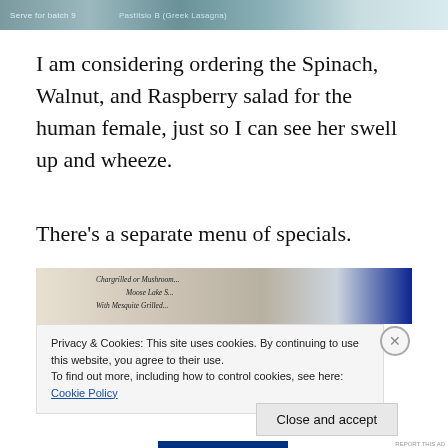[Figure (photo): Top portion of a menu or cookbook page, partially visible, with text 'Pastitsio B (Greek Lasagna)' visible in teal/green color]
I am considering ordering the Spinach, Walnut, and Raspberry salad for the human female, just so I can see her swell up and wheeze.
There's a separate menu of specials.
[Figure (photo): Partial image of a menu page showing 'Chargrilled or Mushroom...' and 'With Mesquite Grilled...' text on what appears to be a restaurant menu]
Privacy & Cookies: This site uses cookies. By continuing to use this website, you agree to their use.
To find out more, including how to control cookies, see here: Cookie Policy
Close and accept